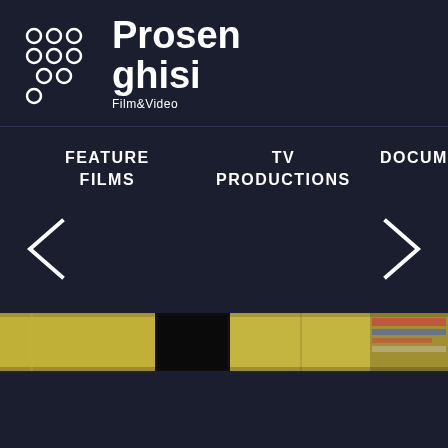[Figure (logo): Prosenghisi Film & Video logo with dot grid pattern on left and text on right]
FEATURE FILMS
TV PRODUCTIONS
DOCUMENTARY
[Figure (illustration): Left arrow navigation chevron]
[Figure (illustration): Right arrow navigation chevron]
[Figure (photo): Partial image strip showing a yellow-walled room interior with a dark doorway/screen in center and shelves visible on right]